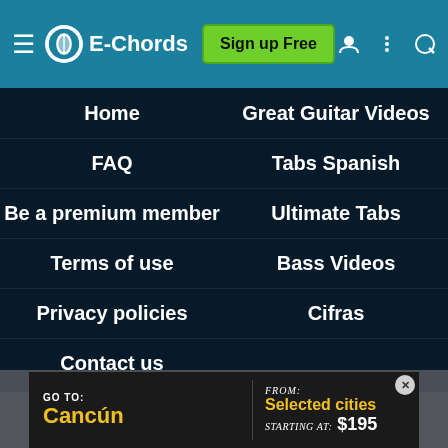E-Chords — Sign up Free
Home
Great Guitar Videos
FAQ
Tabs Spanish
Be a premium member
Ultimate Tabs
Terms of use
Bass Videos
Privacy policies
Cifras
Contact us
E-Chords uses cookies for functional and analytical purposes. Please read our Privacy Policy for more information.
[Figure (screenshot): Advertisement banner: GO TO: Cancún FROM: Selected cities STARTING AT: $195]